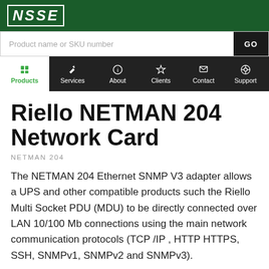NSSE
Product name or SKU number
Riello NETMAN 204 Network Card
NETMAN 204
The NETMAN 204 Ethernet SNMP V3 adapter allows a UPS and other compatible products such the Riello Multi Socket PDU (MDU) to be directly connected over LAN 10/100 Mb connections using the main network communication protocols (TCP /IP , HTTP HTTPS, SSH, SNMPv1, SNMPv2 and SNMPv3).